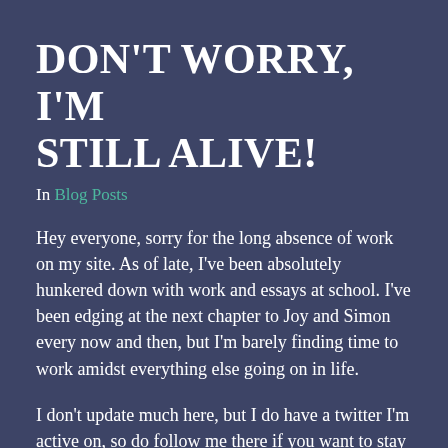DON'T WORRY, I'M STILL ALIVE!
In Blog Posts
Hey everyone, sorry for the long absence of work on my site. As of late, I've been absolutely hunkered down with work and essays at school. I've been edging at the next chapter to Joy and Simon every now and then, but I'm barely finding time to work amidst everything else going on in life.
I don't update much here, but I do have a twitter I'm active on, so do follow me there if you want to stay up to date with my stuff!
Here's the link: https://twitter.com/BenFishLit